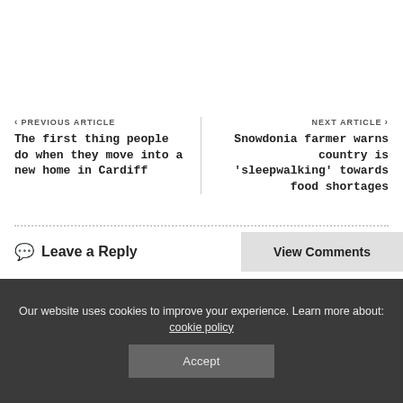< PREVIOUS ARTICLE
The first thing people do when they move into a new home in Cardiff
NEXT ARTICLE >
Snowdonia farmer warns country is 'sleepwalking' towards food shortages
Leave a Reply
View Comments
Our website uses cookies to improve your experience. Learn more about: cookie policy
Accept